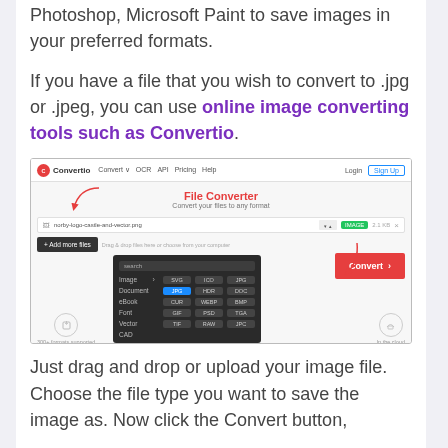Photoshop, Microsoft Paint to save images in your preferred formats.
If you have a file that you wish to convert to .jpg or .jpeg, you can use online image converting tools such as Convertio.
[Figure (screenshot): Screenshot of the Convertio website showing the File Converter page with a dropdown panel for selecting output format (Image, Document, Video, etc.) and format tags (SVG, ICO, JPG, JPG highlighted in blue, HDR, DOC, CUR, WEBP, BMP, GIF, PSD, TGA, TIF, RAW, JPC), along with an Add more files button and a red Convert button.]
Just drag and drop or upload your image file. Choose the file type you want to save the image as. Now click the Convert button,